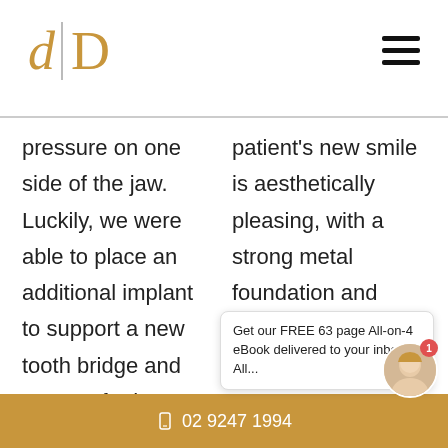d | D
pressure on one side of the jaw. Luckily, we were able to place an additional implant to support a new tooth bridge and prevent further breakages
patient's new smile is aesthetically pleasing, with a strong metal foundation and correct bite.
Get our FREE 63 page All-on-4 eBook delivered to your inbox!  All...
02 9247 1994